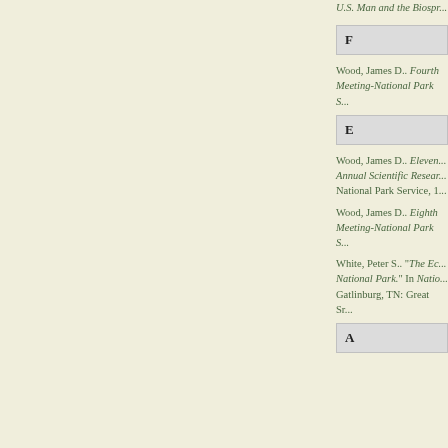U.S. Man and the Biospr...
F
Wood, James D.. Fourth Meeting-National Park S...
E
Wood, James D.. Eleven... Annual Scientific Resear... National Park Service, 1...
Wood, James D.. Eighth Meeting-National Park S...
White, Peter S.. "The Ec... National Park." In Natio... Gatlinburg, TN: Great Sr...
A